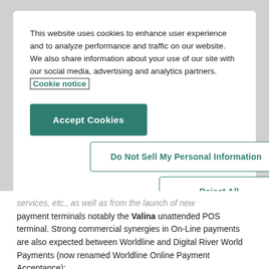This website uses cookies to enhance user experience and to analyze performance and traffic on our website. We also share information about your use of our site with our social media, advertising and analytics partners. Cookie notice
Accept Cookies
Do Not Sell My Personal Information
Reject All
services, etc., as well as from the launch of new payment terminals notably the Valina unattended POS terminal. Strong commercial synergies in On-Line payments are also expected between Worldline and Digital River World Payments (now renamed Worldline Online Payment Acceptance);